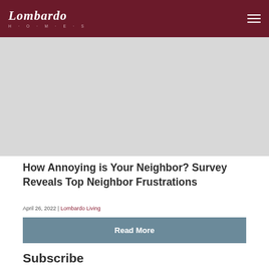Lombardo H·O·M·E·S
[Figure (photo): Header image for article about neighbor frustrations survey, light gray placeholder]
How Annoying is Your Neighbor? Survey Reveals Top Neighbor Frustrations
April 26, 2022 | Lombardo Living
Read More
Subscribe